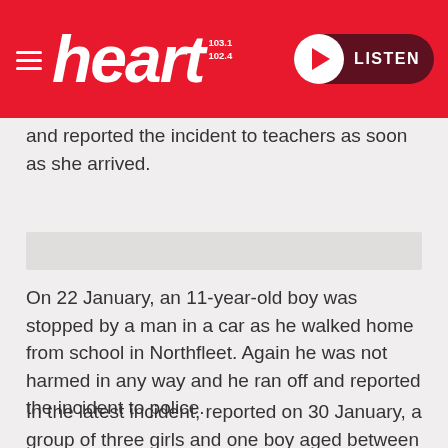heart 103.1 102.4 LISTEN
and reported the incident to teachers as soon as she arrived.
[Figure (other): Advertisement placeholder banner]
On 22 January, an 11-year-old boy was stopped by a man in a car as he walked home from school in Northfleet. Again he was not harmed in any way and he ran off and reported the incident to police.
In the latest incident, reported on 30 January, a group of three girls and one boy aged between eight and ten were